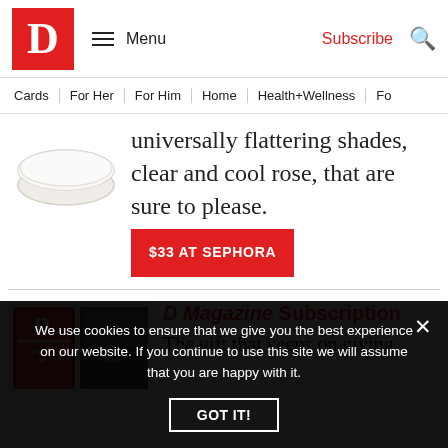D Magazine | Menu | Subscribe
Cards | For Her | For Him | Home | Health+Wellness | Fo...
universally flattering shades, clear and cool rose, that are sure to please.
$33 AT SEPHORA
D Magazine Subscription
The gift that keeps on giving.
We use cookies to ensure that we give you the best experience on our website. If you continue to use this site we will assume that you are happy with it.
GOT IT!